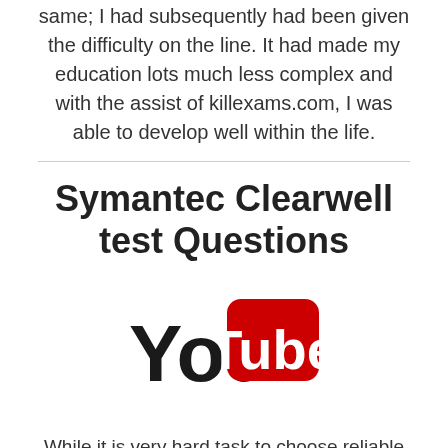same; I had subsequently had been given the difficulty on the line. It had made my education lots much less complex and with the assist of killexams.com, I was able to develop well within the life.
Symantec Clearwell test Questions
[Figure (logo): YouTube logo: 'You' in black bold text followed by 'Tube' in white bold text on a red rounded rectangle background]
While it is very hard task to choose reliable certification questions / answers resources with respect to review, reputation and validity